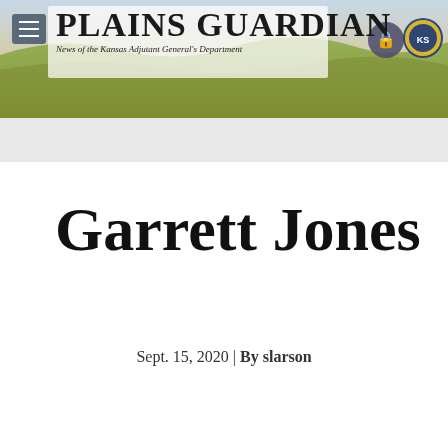Plains Guardian — News of the Kansas Adjutant General's Department
Garrett Jones
Sept. 15, 2020 | By slarson